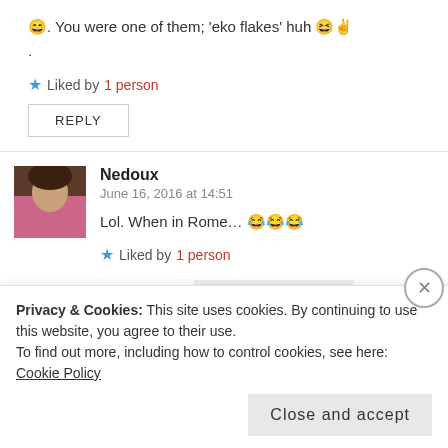😄. You were one of them; 'eko flakes' huh 😆✌
.
★ Liked by 1 person
REPLY
Nedoux
June 16, 2016 at 14:51
Lol. When in Rome... 😂😂😂
★ Liked by 1 person
Privacy & Cookies: This site uses cookies. By continuing to use this website, you agree to their use.
To find out more, including how to control cookies, see here: Cookie Policy
Close and accept